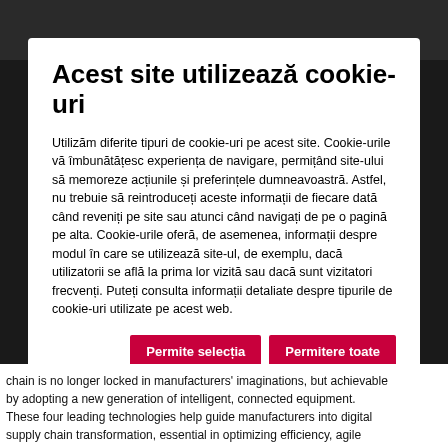Acest site utilizează cookie-uri
Utilizăm diferite tipuri de cookie-uri pe acest site. Cookie-urile vă îmbunătățesc experiența de navigare, permițând site-ului să memoreze acțiunile și preferințele dumneavoastră. Astfel, nu trebuie să reintroduceți aceste informații de fiecare dată când reveniți pe site sau atunci când navigați de pe o pagină pe alta. Cookie-urile oferă, de asemenea, informații despre modul în care se utilizează site-ul, de exemplu, dacă utilizatorii se află la prima lor vizită sau dacă sunt vizitatori frecvenți. Puteți consulta informații detaliate despre tipurile de cookie-uri utilizate pe acest web.
chain is no longer locked in manufacturers' imaginations, but achievable by adopting a new generation of intelligent, connected equipment. These four leading technologies help guide manufacturers into digital supply chain transformation, essential in optimizing efficiency, agile